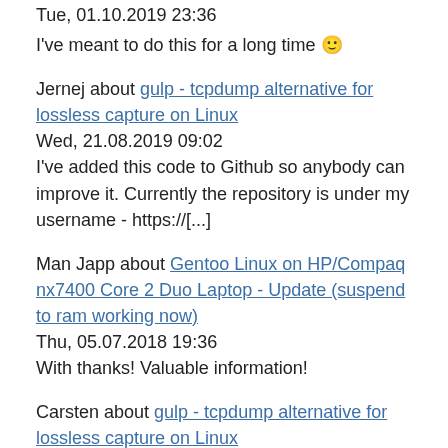Tue, 01.10.2019 23:36
I've meant to do this for a long time 🙂
Jernej about gulp - tcpdump alternative for lossless capture on Linux
Wed, 21.08.2019 09:02
I've added this code to Github so anybody can improve it. Currently the repository is under my username - https://[...]
Man Japp about Gentoo Linux on HP/Compaq nx7400 Core 2 Duo Laptop - Update (suspend to ram working now)
Thu, 05.07.2018 19:36
With thanks! Valuable information!
Carsten about gulp - tcpdump alternative for lossless capture on Linux
Mon, 04.06.2018 21:19
Hi Crox, your collection solves my issues with the initial